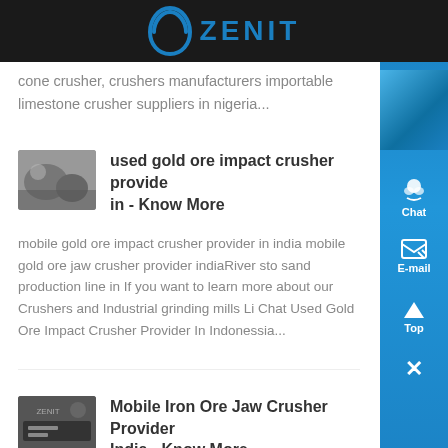ZENIT
cone crusher, crushers manufacturers importable limestone crusher suppliers in nigeria...
used gold ore impact crusher provide in - Know More
mobile gold ore impact crusher provider in india mobile gold ore jaw crusher provider indiaRiver sto sand production line in If you want to learn more about our Crushers and Industrial grinding mills Li Chat Used Gold Ore Impact Crusher Provider In Indonessia...
Mobile Iron Ore Jaw Crusher Provider India - Know More
portable gold ore impact crusher provider india mo